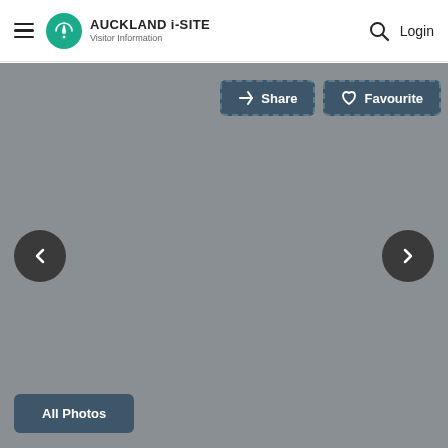Auckland i-SITE Visitor Information — Login
[Figure (screenshot): Auckland i-SITE website screenshot showing a navigation bar with hamburger menu, Auckland i-SITE logo and Visitor Information tagline, search icon and Login link. Below is a grey image slider with Share and Favourite buttons at top right, left and right navigation arrows, and an All Photos button at bottom left.]